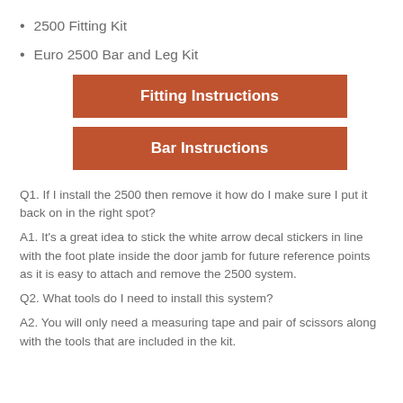2500 Fitting Kit
Euro 2500 Bar and Leg Kit
[Figure (other): Orange button labeled 'Fitting Instructions']
[Figure (other): Orange button labeled 'Bar Instructions']
Q1. If I install the 2500 then remove it how do I make sure I put it back on in the right spot?
A1. It's a great idea to stick the white arrow decal stickers in line with the foot plate inside the door jamb for future reference points as it is easy to attach and remove the 2500 system.
Q2. What tools do I need to install this system?
A2. You will only need a measuring tape and pair of scissors along with the tools that are included in the kit.